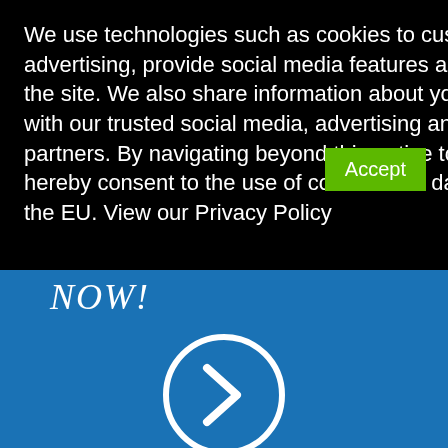We use technologies such as cookies to customise content and advertising, provide social media features and analyse traffic to the site. We also share information about your use of our site with our trusted social media, advertising and analytics partners. By navigating beyond this notice to the website, you hereby consent to the use of cookies and data transfer outside the EU. View our Privacy Policy
Accept
NOW!
[Figure (illustration): White circle with right-pointing chevron/arrow inside, on blue background]